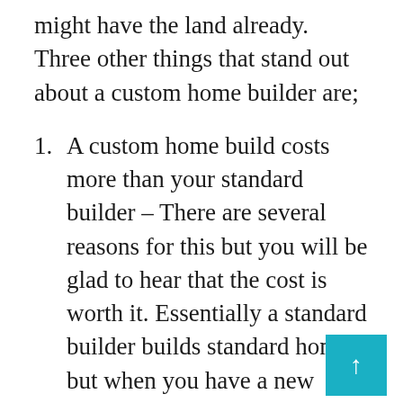might have the land already. Three other things that stand out about a custom home builder are;
A custom home build costs more than your standard builder – There are several reasons for this but you will be glad to hear that the cost is worth it. Essentially a standard builder builds standard homes but when you have a new home builder, Macedon Ranges you are having everything customised from the plans and up. It takes longer to build custom homes but you can get